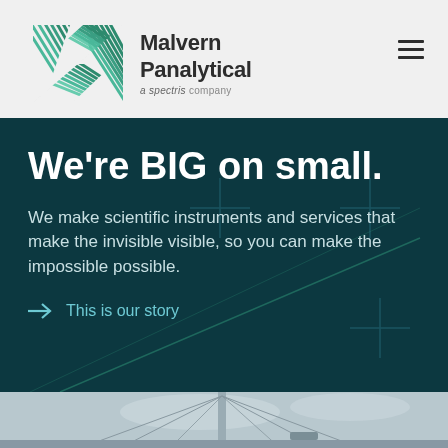[Figure (logo): Malvern Panalytical logo with X symbol and 'a spectris company' tagline]
We're BIG on small.
We make scientific instruments and services that make the invisible visible, so you can make the impossible possible.
→ This is our story
[Figure (photo): Bridge cables and sky photograph]